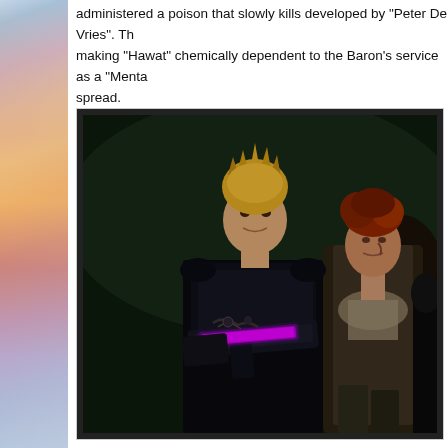administered a poison that slowly kills developed by "Peter De Vries". The making "Hawat" chemically dependent to the Baron's service as a "Menta spread.
[Figure (photo): Movie still showing two characters in dark sci-fi costumes. The figure on the left has spiky blond hair and holds a futuristic weapon with a glowing purple/pink light element. The figure on the right has curly red hair and wears lighter costume with a scarf. Dark, moody background. Appears to be from the 1984 Dune film.]